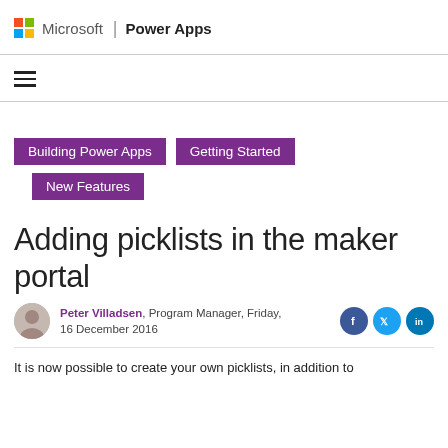Microsoft | Power Apps
[Figure (logo): Microsoft Windows logo (four colored squares) followed by 'Microsoft | Power Apps' text header]
Adding picklists in the maker portal
Building Power Apps
Getting Started
New Features
Peter Villadsen, Program Manager, Friday, 16 December 2016
It is now possible to create your own picklists, in addition to